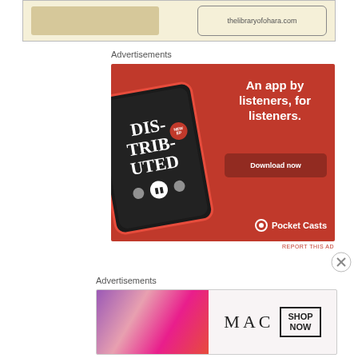[Figure (screenshot): Top banner ad showing thelibraryofohara.com with tan background]
Advertisements
[Figure (photo): Pocket Casts advertisement on red background showing smartphone with 'Distributed' podcast app. Text reads: An app by listeners, for listeners. Download now. Pocket Casts logo.]
REPORT THIS AD
[Figure (illustration): Close button (X circle)]
Advertisements
[Figure (photo): MAC cosmetics advertisement showing lipsticks and MAC brand text with SHOP NOW button]